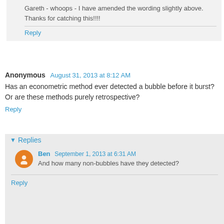Gareth - whoops - I have amended the wording slightly above. Thanks for catching this!!!!
Reply
Anonymous  August 31, 2013 at 8:12 AM
Has an econometric method ever detected a bubble before it burst? Or are these methods purely retrospective?
Reply
Replies
Ben  September 1, 2013 at 6:31 AM
And how many non-bubbles have they detected?
Reply